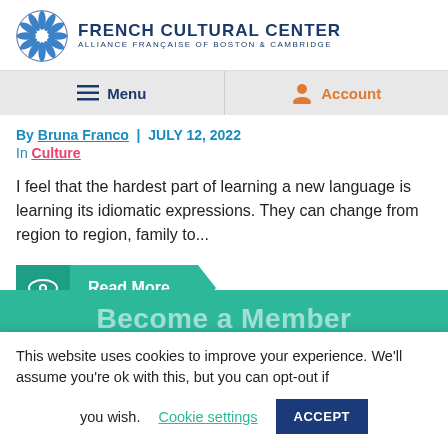[Figure (logo): French Cultural Center Alliance Française of Boston & Cambridge logo with bird graphic]
Menu | Account
By Bruna Franco | JULY 12, 2022
In Culture
I feel that the hardest part of learning a new language is learning its idiomatic expressions. They can change from region to region, family to...
[Figure (other): Read More button with eye icon]
Become a Member
This website uses cookies to improve your experience. We'll assume you're ok with this, but you can opt-out if you wish. Cookie settings ACCEPT